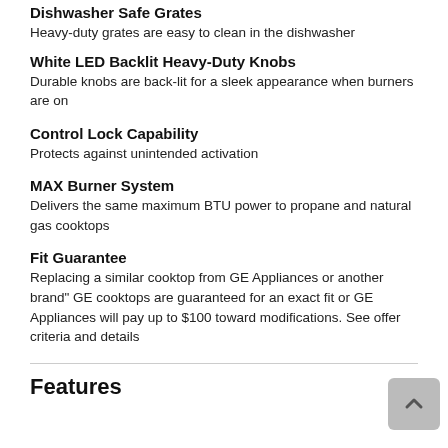Dishwasher Safe Grates
Heavy-duty grates are easy to clean in the dishwasher
White LED Backlit Heavy-Duty Knobs
Durable knobs are back-lit for a sleek appearance when burners are on
Control Lock Capability
Protects against unintended activation
MAX Burner System
Delivers the same maximum BTU power to propane and natural gas cooktops
Fit Guarantee
Replacing a similar cooktop from GE Appliances or another brand" GE cooktops are guaranteed for an exact fit or GE Appliances will pay up to $100 toward modifications. See offer criteria and details
Features